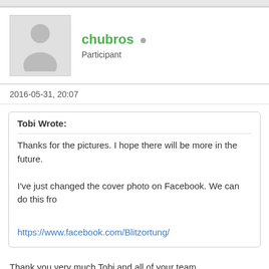[Figure (other): User avatar placeholder silhouette image with grey background]
chubros • Participant
2016-05-31, 20:07
Tobi Wrote:
Thanks for the pictures. I hope there will be more in the future.

I've just changed the cover photo on Facebook. We can do this fro...

https://www.facebook.com/Blitzortung/
Thank you very much Tobi and all of your team....
It is my honor for sharing my picture.
And i m a very proud to be a member of your network.
My hope is to make more Greek people get involved with this project.
Keep up the good job...
Thanks again